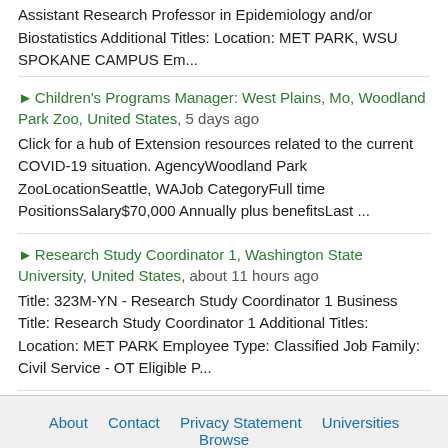Assistant Research Professor in Epidemiology and/or Biostatistics Additional Titles: Location: MET PARK, WSU SPOKANE CAMPUS Em...
Children's Programs Manager: West Plains, Mo, Woodland Park Zoo, United States, 5 days ago
Click for a hub of Extension resources related to the current COVID-19 situation. AgencyWoodland Park ZooLocationSeattle, WAJob CategoryFull time PositionsSalary$70,000 Annually plus benefitsLast ...
Research Study Coordinator 1, Washington State University, United States, about 11 hours ago
Title: 323M-YN - Research Study Coordinator 1 Business Title: Research Study Coordinator 1 Additional Titles: Location: MET PARK Employee Type: Classified Job Family: Civil Service - OT Eligible P...
About   Contact   Privacy Statement   Universities   Browse
Post an Ads
Copyright © 2022 scholarshipdb.net. All rights reserved.